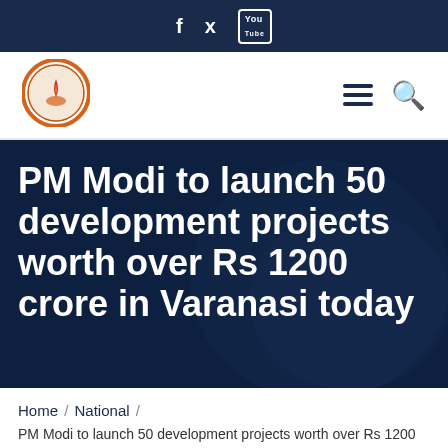f  ✓  You
[Figure (logo): Circular organization logo with orange border and flame symbol]
PM Modi to launch 50 development projects worth over Rs 1200 crore in Varanasi today
Home / National / PM Modi to launch 50 development projects worth over Rs 1200 crore in Varanasi today